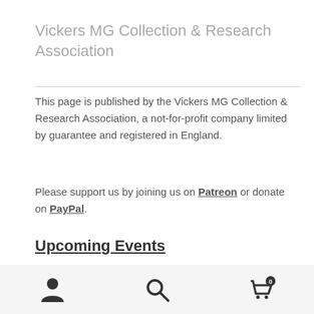Vickers MG Collection & Research Association
This page is published by the Vickers MG Collection & Research Association, a not-for-profit company limited by guarantee and registered in England.
Please support us by joining us on Patreon or donate on PayPal.
Upcoming Events
[Figure (photo): Historical document or diagram titled VICKERS 303 with technical annotations]
Navigation toolbar with person, search, and cart icons